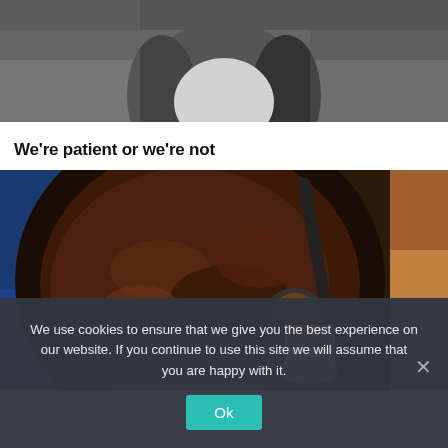[Figure (photo): Grayscale photo of a person with long hair, cropped at chin level, black and white portrait style]
We're patient or we're not
[Figure (photo): Color photo of a large dark cooking pan or wok with brownish-red food being scooped with a spoon into a small white cup, held by a hand. Outdoor setting.]
We use cookies to ensure that we give you the best experience on our website. If you continue to use this site we will assume that you are happy with it.